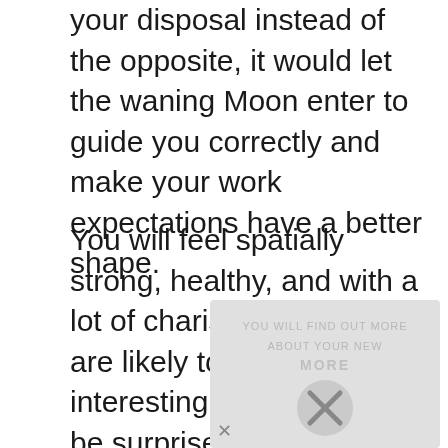your disposal instead of the opposite, it would let the waning Moon enter to guide you correctly and make your work expectations have a better shape.
You will feel spatially strong, healthy, and with a lot of charisma, and you are likely to be invited to interesting parties. You will be surprised what happens when you experience a sudden increase in your popularity level. More career opportunities may also present themselves, and you may find that doors are opening to a whole new life: new friends, a new job, and possibly
[Figure (other): Advertisement or overlay block with watermark text and a close (X) button at the bottom]